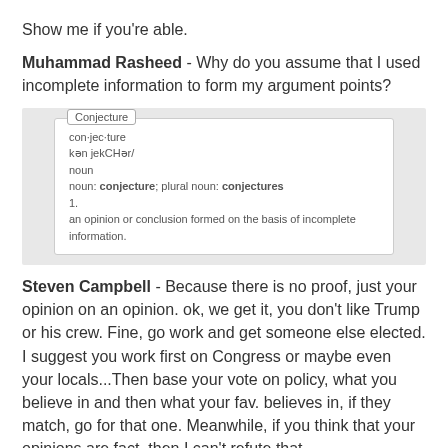Show me if you're able.
Muhammad Rasheed - Why do you assume that I used incomplete information to form my argument points?
[Figure (screenshot): Dictionary definition popup for 'Conjecture': con·jec·ture, kan jekCHər/, noun; noun: conjecture; plural noun: conjectures; 1. an opinion or conclusion formed on the basis of incomplete information.]
Steven Campbell - Because there is no proof, just your opinion on an opinion. ok, we get it, you don't like Trump or his crew. Fine, go work and get someone else elected. I suggest you work first on Congress or maybe even your locals...Then base your vote on policy, what you believe in and then what your fav. believes in, if they match, go for that one. Meanwhile, if you think that your opinions are fact, then I can't refute that.
Muhammad Rasheed - Why do you believe there is no proof that all of Trump's cabinet picks have histories of